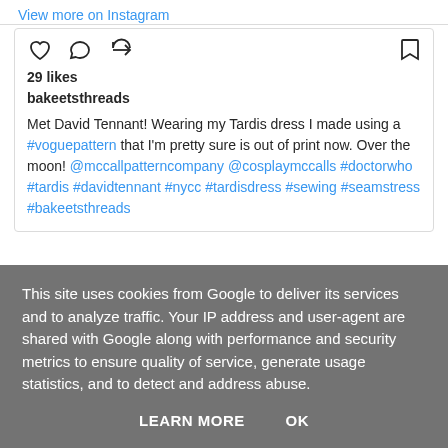View more on Instagram
[Figure (screenshot): Instagram post interaction icons: heart, comment, share (left); bookmark (right)]
29 likes
bakeetsthreads
Met David Tennant! Wearing my Tardis dress I made using a #voguepattern that I'm pretty sure is out of print now. Over the moon! @mccallpatterncompany @cosplaymccalls #doctorwho #tardis #davidtennant #nycc #tardisdress #sewing #seamstress #bakeetsthreads
[Figure (screenshot): Instagram profile card for jacquelyncecilia with avatar, 594 followers, and View profile button]
This site uses cookies from Google to deliver its services and to analyze traffic. Your IP address and user-agent are shared with Google along with performance and security metrics to ensure quality of service, generate usage statistics, and to detect and address abuse. LEARN MORE  OK